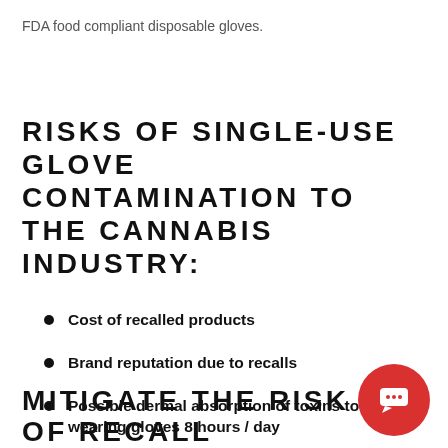FDA food compliant disposable gloves.
RISKS OF SINGLE-USE GLOVE CONTAMINATION TO THE CANNABIS INDUSTRY:
Cost of recalled products
Brand reputation due to recalls
Possible dermal absorption of toxins to staff wearing gloves 8 hours / day
MITIGATE THE RISK OF RECALL